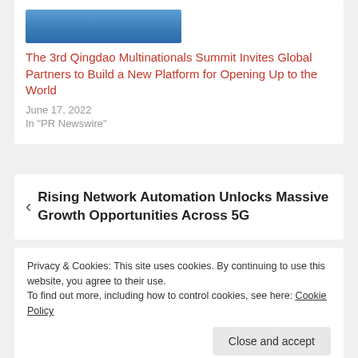[Figure (photo): Thumbnail image — blue sky/scenery photograph cropped at top of card]
The 3rd Qingdao Multinationals Summit Invites Global Partners to Build a New Platform for Opening Up to the World
June 17, 2022
In "PR Newswire"
‹ Rising Network Automation Unlocks Massive Growth Opportunities Across 5G
Privacy & Cookies: This site uses cookies. By continuing to use this website, you agree to their use.
To find out more, including how to control cookies, see here: Cookie Policy
Close and accept